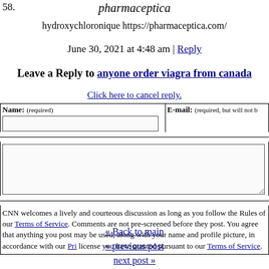58.
pharmaceptica
hydroxychloronique https://pharmaceptica.com/
June 30, 2021 at 4:48 am | Reply
Leave a Reply to anyone order viagra from canada
Click here to cancel reply.
Name: (required)  E-mail: (required, but will not be published)
CNN welcomes a lively and courteous discussion as long as you follow the Rules of our Terms of Service. Comments are not pre-screened before they post. You agree that anything you post may be used, along with your name and profile picture, in accordance with our Privacy Policy and the license you have granted pursuant to our Terms of Service.
« Back to main
« previous post
next post »